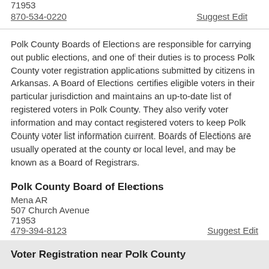71953
870-534-0220
Suggest Edit
Polk County Boards of Elections are responsible for carrying out public elections, and one of their duties is to process Polk County voter registration applications submitted by citizens in Arkansas. A Board of Elections certifies eligible voters in their particular jurisdiction and maintains an up-to-date list of registered voters in Polk County. They also verify voter information and may contact registered voters to keep Polk County voter list information current. Boards of Elections are usually operated at the county or local level, and may be known as a Board of Registrars.
Polk County Board of Elections
Mena AR
507 Church Avenue
71953
479-394-8123
Suggest Edit
Voter Registration near Polk County